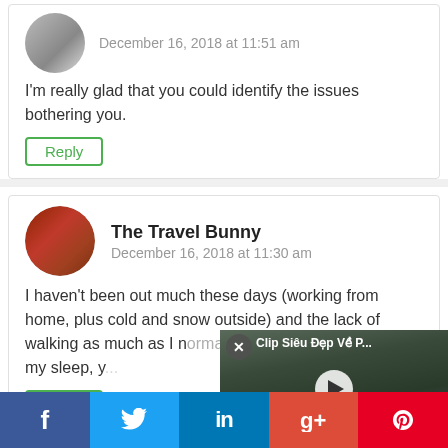December 16, 2018 at 11:51 am
I'm really glad that you could identify the issues bothering you.
Reply
The Travel Bunny
December 16, 2018 at 11:30 am
I haven't been out much these days (working from home, plus cold and snow outside) and the lack of walking as much as I normally do has had an impact on my sleep, y...
Reply
[Figure (screenshot): Video overlay showing 'Clip Siêu Đẹp Về P...' with a play button, showing a road/cycling scene with harbor in background]
[Figure (infographic): Social sharing bar at bottom with Facebook, Twitter, LinkedIn, Google+, Pinterest icons]